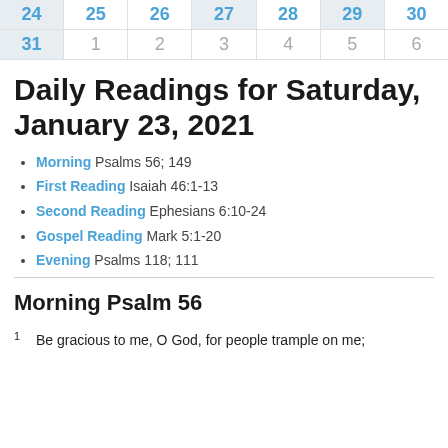| 24 | 25 | 26 | 27 | 28 | 29 | 30 |
| --- | --- | --- | --- | --- | --- | --- |
| 31 | 1 | 2 | 3 | 4 | 5 | 6 |
Daily Readings for Saturday, January 23, 2021
Morning Psalms 56; 149
First Reading Isaiah 46:1-13
Second Reading Ephesians 6:10-24
Gospel Reading Mark 5:1-20
Evening Psalms 118; 111
Morning Psalm 56
1  Be gracious to me, O God, for people trample on me;